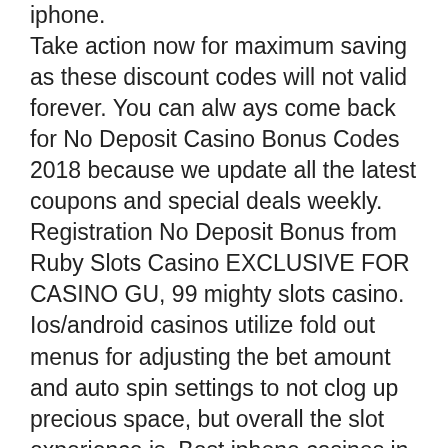iphone. Take action now for maximum saving as these discount codes will not valid forever. You can alw ays come back for No Deposit Casino Bonus Codes 2018 because we update all the latest coupons and special deals weekly. Registration No Deposit Bonus from Ruby Slots Casino EXCLUSIVE FOR CASINO GU, 99 mighty slots casino. Ios/android casinos utilize fold out menus for adjusting the bet amount and auto spin settings to not clog up precious space, but overall the slot experience is. Best iphone casinos in canada ; how to choose the best iphone casino site? popular slots to play for real money; live dealer games to play on the go ; jackpot. The casumo online casino app is so smooth and fast that it gained the egr operator award for the best mobile casino of the year. The largest selection of games is available via the casino websites. There are no apps or software to download, so even if